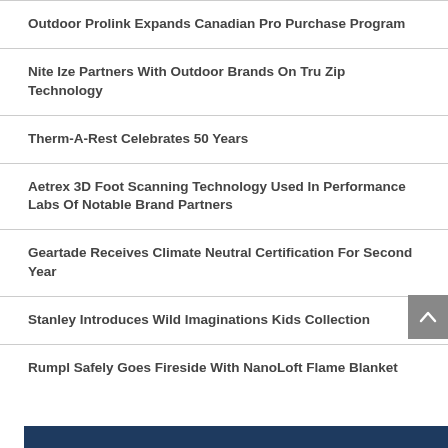Outdoor Prolink Expands Canadian Pro Purchase Program
Nite Ize Partners With Outdoor Brands On Tru Zip Technology
Therm-A-Rest Celebrates 50 Years
Aetrex 3D Foot Scanning Technology Used In Performance Labs Of Notable Brand Partners
Geartade Receives Climate Neutral Certification For Second Year
Stanley Introduces Wild Imaginations Kids Collection
Rumpl Safely Goes Fireside With NanoLoft Flame Blanket